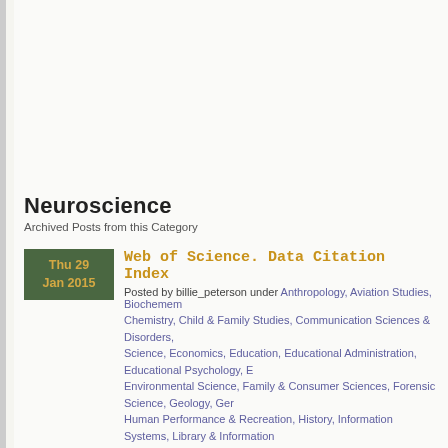Neuroscience
Archived Posts from this Category
Web of Science. Data Citation Index
Posted by billie_peterson under Anthropology, Aviation Studies, Biochemistry, Chemistry, Child & Family Studies, Communication Sciences & Disorders, Computer Science, Economics, Education, Educational Administration, Educational Psychology, Environmental Science, Family & Consumer Sciences, Forensic Science, Geology, Germanic Studies, Human Performance & Recreation, History, Information Systems, Library & Information Science, Medicine, Multidisciplinary, Neuroscience, Nursing, Nutrition, Physics, Political Science, Social Work, Sociology, Statistics, Technology
No Comments
Web of Science. Data Citation Index
Provides bibliographic references to research data in the areas of Science (1900-